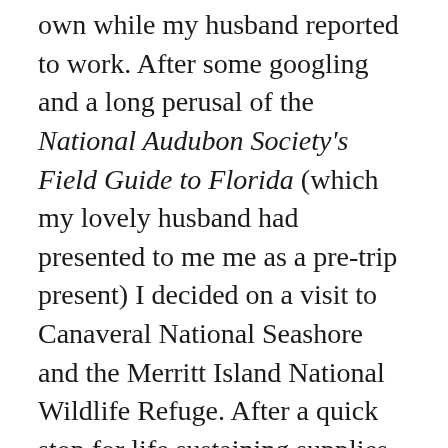own while my husband reported to work. After some googling and a long perusal of the National Audubon Society's Field Guide to Florida (which my lovely husband had presented to me me as a pre-trip present) I decided on a visit to Canaveral National Seashore and the Merritt Island National Wildlife Refuge. After a quick stop for life sustaining supplies (water, Gatorade and fruit snacks), I got on the road. In about an hour's drive I arrived. I had been